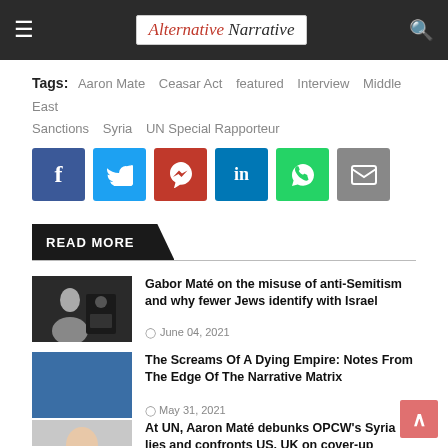Alternative Narrative
Tags: Aaron Mate  Ceasar Act  featured  Interview  Middle East  Sanctions  Syria  UN Special Rapporteur
[Figure (infographic): Social sharing buttons: Facebook (blue), Twitter (light blue), Pinterest (red), LinkedIn (dark blue), WhatsApp (green), Email (gray)]
READ MORE
[Figure (photo): Two men in a studio interview setting]
Gabor Maté on the misuse of anti-Semitism and why fewer Jews identify with Israel
June 04, 2021
[Figure (photo): TYT (The Young Turks) show background with MEMBERS ONLY banner]
The Screams Of A Dying Empire: Notes From The Edge Of The Narrative Matrix
May 31, 2021
[Figure (photo): Person headshot, gray background]
At UN, Aaron Maté debunks OPCW's Syria lies and confronts US, UK on cover-up